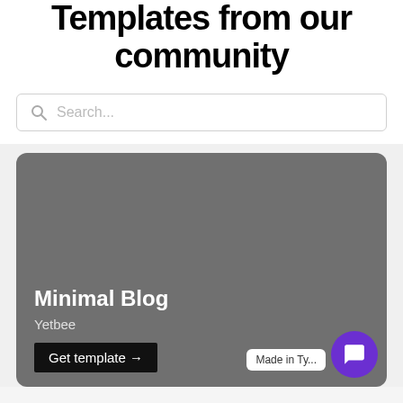Templates from our community
[Figure (screenshot): Search bar with magnifying glass icon and placeholder text 'Search...']
[Figure (screenshot): Dark gray card showing 'Minimal Blog' template by Yetbee with a 'Get template →' button, a 'Made in Typedream' badge, and a purple chat bubble icon]
Minimal Blog
Yetbee
Get template →
Made in Ty...